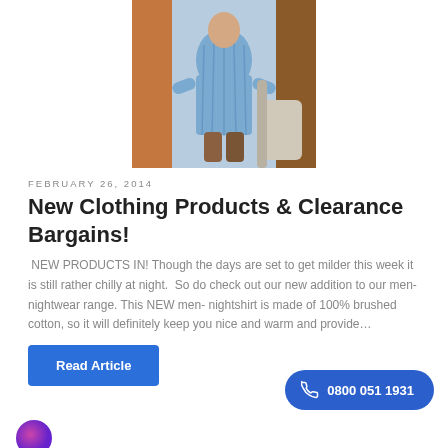[Figure (photo): Man wearing a blue striped nightshirt, standing indoors near furniture and curtains.]
FEBRUARY 26, 2014
New Clothing Products & Clearance Bargains!
NEW PRODUCTS IN! Though the days are set to get milder this week it is still rather chilly at night.  So do check out our new addition to our men-nightwear range. This NEW men- nightshirt is made of 100% brushed cotton, so it will definitely keep you nice and warm and provide…
Read Article
0800 051 1931